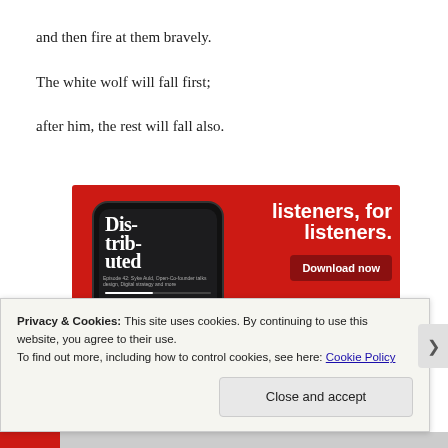and then fire at them bravely.
The white wolf will fall first;
after him, the rest will fall also.
[Figure (photo): Advertisement banner with red background showing a smartphone with a podcast app (Dis-trib-uted) on screen, with text 'listeners, for listeners.' and a 'Download now' button.]
Privacy & Cookies: This site uses cookies. By continuing to use this website, you agree to their use.
To find out more, including how to control cookies, see here: Cookie Policy
Close and accept